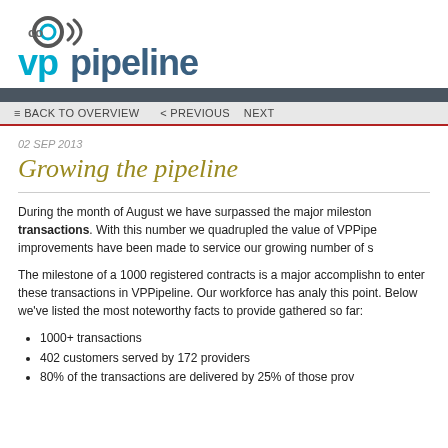[Figure (logo): VPPipeline logo with 'co' icon and teal/blue wordmark 'vppipeline']
≡ BACK TO OVERVIEW   < PREVIOUS   NEXT
02 SEP 2013
Growing the pipeline
During the month of August we have surpassed the major milestone of 1000+ transactions. With this number we quadrupled the value of VPPipeline improvements have been made to service our growing number of s
The milestone of a 1000 registered contracts is a major accomplishment to enter these transactions in VPPipeline. Our workforce has analyzed this point. Below we've listed the most noteworthy facts to provide gathered so far:
1000+ transactions
402 customers served by 172 providers
80% of the transactions are delivered by 25% of those prov